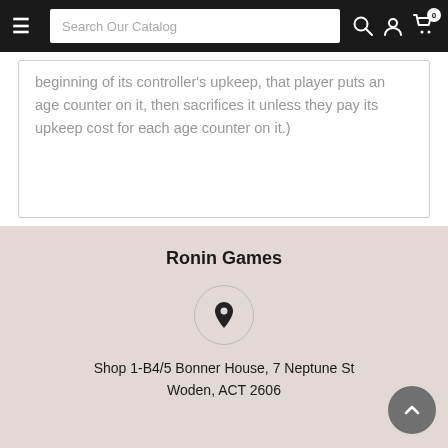Search Our Catalog
beginning of its controller's upkeep, that player puts an age counter on it, then sacrifices it unless they pay its upkeep cost for each age counter on it.)
Ronin Games
Shop 1-B4/5 Bonner House, 7 Neptune St Woden, ACT 2606